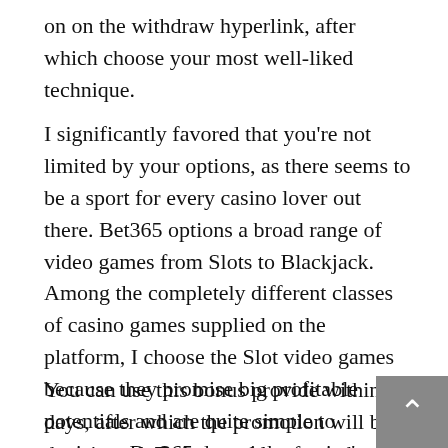on on the withdraw hyperlink, after which choose your most well-liked technique.
I significantly favored that you're not limited by your options, as there seems to be a sport for every casino lover out there. Bet365 options a broad range of video games from Slots to Blackjack. Among the completely different classes of casino games supplied on the platform, I choose the Slot video games because they promise big profitable potentials and are quite simple to navigate. Bet365 deposit bonus isn't credited immediately, but for an active recreation at the poker tables. For each game, the participant receives a specific amount of credit, which may then be exchanged for actual cash.
You can use this bonus provide within 30 days, after which the promotion will be deactivated. To be capable of use the bonus funds, you should wager on Bet365 sign up provide. Impo – this must be the primary game account on this betting